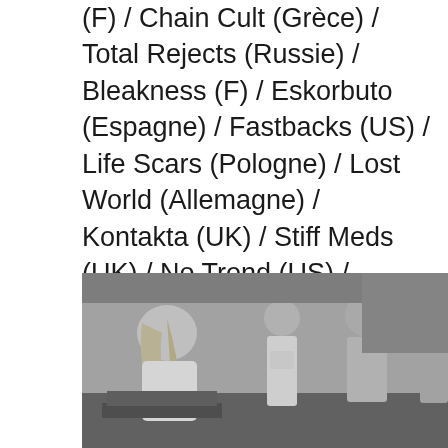(F) / Chain Cult (Grèce) / Total Rejects (Russie) / Bleakness (F) / Eskorbuto (Espagne) / Fastbacks (US) / Life Scars (Pologne) / Lost World (Allemagne) / Kontakta (UK) / Stiff Meds (UK) / No Trend (US) / USA/Mexico (US) / Bagna (Belarus) / Nux Vomica (US) / Douche Froide (F) / Litovsk (F) / Declino (Italie) / Special Interest (US) / Axe Rash (Suède) / Protestera (Suède) / Tuhoon Tuomitut (Finlande) / Ladrona (Costa Rica) / Perpex Flesh (UK) / Deletär (F) / Gel (US)
[Figure (photo): Black and white photograph of a punk band performing live. On the left, a person with long blonde hair looks down at equipment. In the center background, another band member stands. On the right, a bald person sings into a microphone. Another person is visible on the far right.]